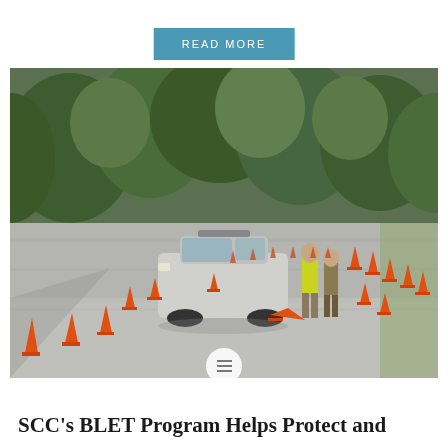READ MORE
[Figure (photo): Outdoor driver training course with orange traffic cones arranged on a wet asphalt surface. A silver SUV police vehicle is visible in the center, with two people standing nearby — one wearing a bright yellow-green safety vest. Dense green trees line the background. The scene appears to be a BLET (Basic Law Enforcement Training) driving exercise area.]
SCC's BLET Program Helps Protect and